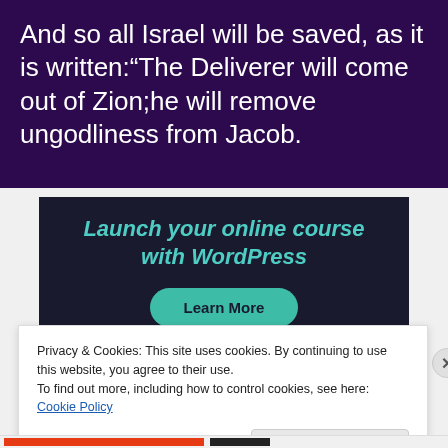And so all Israel will be saved, as it is written:“The Deliverer will come out of Zion;he will remove ungodliness from Jacob.
[Figure (screenshot): Advertisement banner with dark navy background, teal italic text reading 'Launch your online course with WordPress' and a teal rounded button labeled 'Learn More']
Privacy & Cookies: This site uses cookies. By continuing to use this website, you agree to their use.
To find out more, including how to control cookies, see here: Cookie Policy
Close and accept